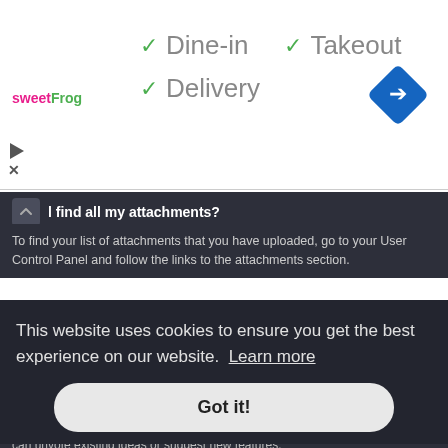[Figure (infographic): Advertisement banner for sweetFrog with green checkmarks next to Dine-in, Takeout, and Delivery options, and a blue navigation/directions diamond icon on the right]
find all my attachments?
To find your list of attachments that you have uploaded, go to your User Control Panel and follow the links to the attachments section.
Top
phpBB Issues
Who wrote this bulletin board?
This software (in its unmodified form) is produced, released and is copyright ... License, ... for more
This website uses cookies to ensure you get the best experience on our website. Learn more
Got it!
ou believe ... here you
can unvote existing ideas or suggest new features.